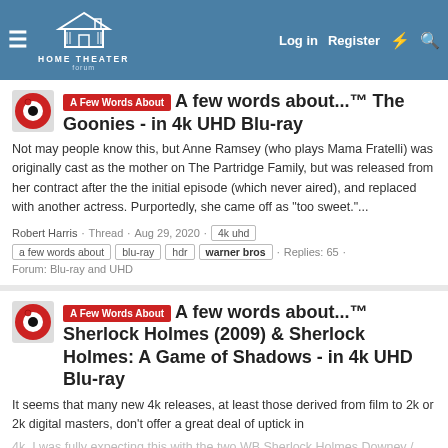Home Theater Forum — Log in | Register
A few words about...™ The Goonies - in 4k UHD Blu-ray
Not may people know this, but Anne Ramsey (who plays Mama Fratelli) was originally cast as the mother on The Partridge Family, but was released from her contract after the the initial episode (which never aired), and replaced with another actress. Purportedly, she came off as "too sweet."...
Robert Harris · Thread · Aug 29, 2020 · 4k uhd · a few words about · blu-ray · hdr · warner bros · Replies: 65 · Forum: Blu-ray and UHD
A few words about...™ Sherlock Holmes (2009) & Sherlock Holmes: A Game of Shadows - in 4k UHD Blu-ray
It seems that many new 4k releases, at least those derived from film to 2k or 2k digital masters, don't offer a great deal of uptick in 4k. I was fully expecting this with the two WB Sherlock Holmes Downey / Law films, but came away pleasantly surprised. Especially when running the films from...